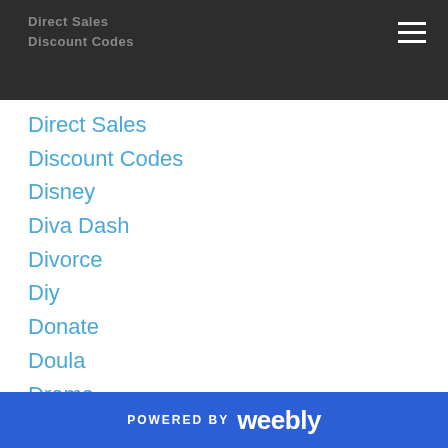Direct Sales
Discount Codes
Direct Sales
Discount Codes
Disney
Diva Dash
Divorce
Diy
Donate
Doula
Drama
Drowning
Drugs
Dyslexia
Ear Infection
Early Intervention
Earth Day
POWERED BY weebly